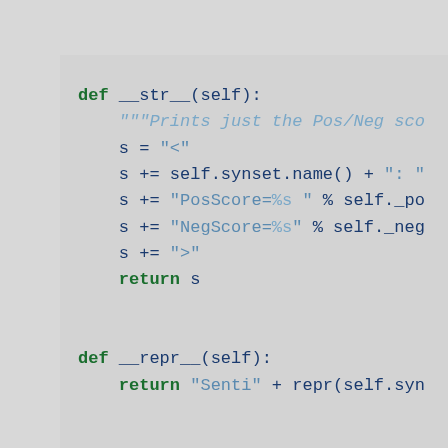[Figure (screenshot): Python source code snippet showing __str__ and __repr__ methods with syntax highlighting. Green keywords (def, return), blue strings and identifiers, on a light grey background.]